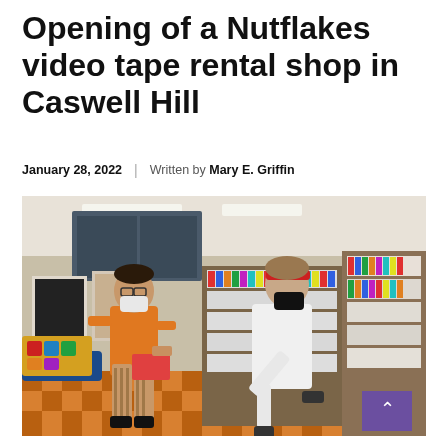Opening of a Nutflakes video tape rental shop in Caswell Hill
January 28, 2022 | Written by Mary E. Griffin
[Figure (photo): Two people wearing face masks inside a video tape rental store. One person in an orange shirt holds a VHS tape box while the other person in a white robe and red headband appears to be doing a karate kick. Shelves full of VHS tapes line the walls in the background.]